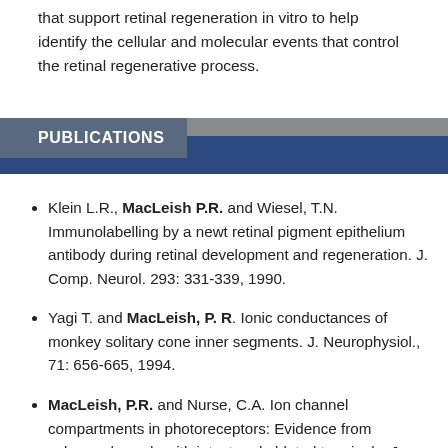that support retinal regeneration in vitro to help identify the cellular and molecular events that control the retinal regenerative process.
PUBLICATIONS
Klein L.R., MacLeish P.R. and Wiesel, T.N. Immunolabelling by a newt retinal pigment epithelium antibody during retinal development and regeneration. J. Comp. Neurol. 293: 331-339, 1990.
Yagi T. and MacLeish, P. R. Ionic conductances of monkey solitary cone inner segments. J. Neurophysiol., 71: 656-665, 1994.
MacLeish, P.R. and Nurse, C.A. Ion channel compartments in photoreceptors: Evidence from salamander rods with intact and ablated terminals. J. Neurophysiology 98: 86-95, 2007.
O'Brian, H., Chen, X., MacLeish, P.R., O'Brian, J. and ...